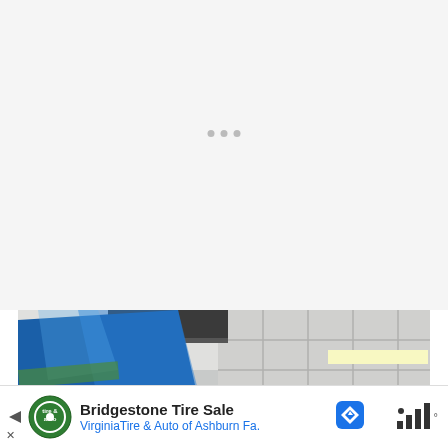[Figure (other): White/light gray loading area with three small gray dots indicating a loading state]
[Figure (photo): Photograph showing a blue product bag (partially visible text: CHE, TO, COO) tilted at an angle, with a white tiled wall/ceiling visible in the background and fluorescent lighting]
[Figure (other): Advertisement banner: Bridgestone Tire Sale - VirginiaTire & Auto of Ashburn Fa. with Tire & Auto logo and navigation diamond icon]